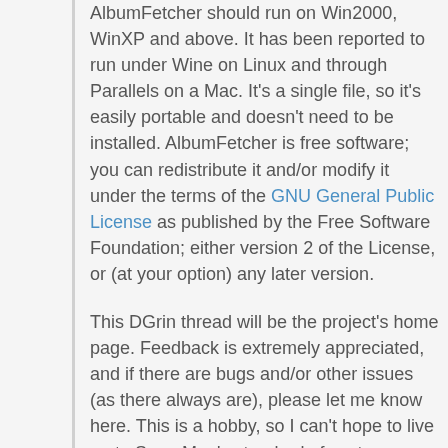AlbumFetcher should run on Win2000, WinXP and above. It has been reported to run under Wine on Linux and through Parallels on a Mac. It's a single file, so it's easily portable and doesn't need to be installed. AlbumFetcher is free software; you can redistribute it and/or modify it under the terms of the GNU General Public License as published by the Free Software Foundation; either version 2 of the License, or (at your option) any later version.
This DGrin thread will be the project's home page. Feedback is extremely appreciated, and if there are bugs and/or other issues (as there always are), please let me know here. This is a hobby, so I can't hope to live up to SmugMug's standard of customer service, but I will try to help you out if you're having an issue with the software. One word of caution - beware of the total number of bytes you download. You could easily run up against your monthly bandwith limit.
Again, this is yours to use forever for free. However, if you're a fan of my little app and feel so inclined, you can send me the electronic equivalent of the adult